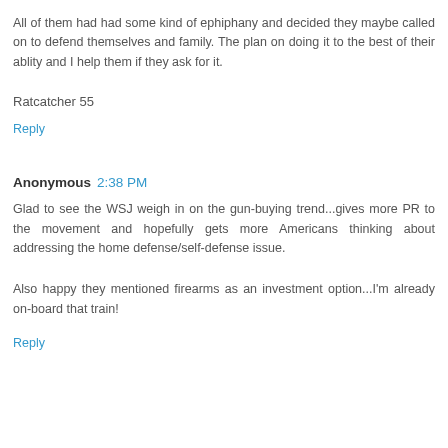All of them had had some kind of ephiphany and decided they maybe called on to defend themselves and family. The plan on doing it to the best of their ablity and I help them if they ask for it.
Ratcatcher 55
Reply
Anonymous  2:38 PM
Glad to see the WSJ weigh in on the gun-buying trend...gives more PR to the movement and hopefully gets more Americans thinking about addressing the home defense/self-defense issue.
Also happy they mentioned firearms as an investment option...I'm already on-board that train!
Reply